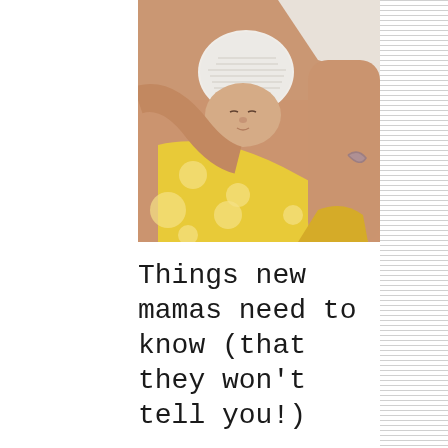[Figure (photo): A mother holding a newborn baby wrapped in a yellow polka-dot blanket and wearing a white knit hat. The photo is taken indoors, close-up, with the baby resting against the mother's chest.]
Things new mamas need to know (that they won't tell you!)